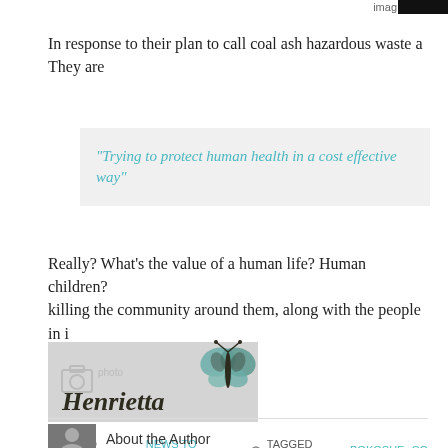[Figure (screenshot): Dark image bar at top right, partially visible, labeled 'imag']
In response to their plan to call coal ash hazardous waste a They are
“Trying to protect human health in a cost effective way”
Really? What’s the value of a human life? Human children? killing the community around them, along with the people in i
[Figure (illustration): Henrietta signature image with butterfly graphic on grey background, photobucket watermark visible]
FILED UNDER: NEWS TO SHARE   TAGGED WITH: BOKOSHE, CO
About the Author